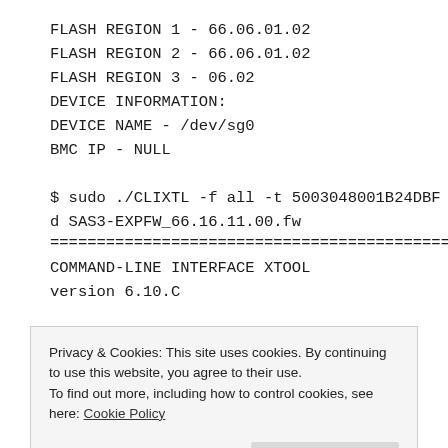FLASH REGION 1 - 66.06.01.02
FLASH REGION 2 - 66.06.01.02
FLASH REGION 3 - 06.02
DEVICE INFORMATION:
DEVICE NAME - /dev/sg0
BMC IP - NULL
$ sudo ./CLIXTL -f all -t 5003048001B24DBF -
d SAS3-EXPFW_66.16.11.00.fw
==================================================
COMMAND-LINE INTERFACE XTOOL
version 6.10.C
Privacy & Cookies: This site uses cookies. By continuing to use this website, you agree to their use.
To find out more, including how to control cookies, see here: Cookie Policy
Please reset expander to activate